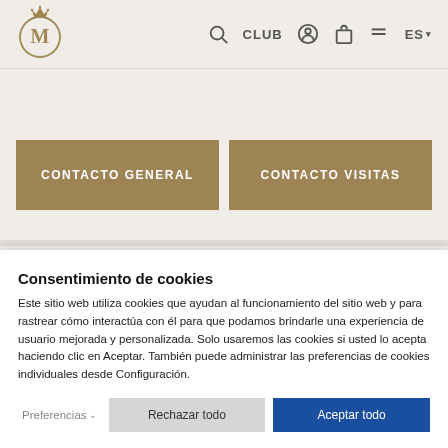[Figure (logo): Circular logo with letter M and crown, gold/brown color]
CLUB   ES
CONTACTO GENERAL
CONTACTO VISITAS
Consentimiento de cookies
Este sitio web utiliza cookies que ayudan al funcionamiento del sitio web y para rastrear cómo interactúa con él para que podamos brindarle una experiencia de usuario mejorada y personalizada. Solo usaremos las cookies si usted lo acepta haciendo clic en Aceptar. También puede administrar las preferencias de cookies individuales desde Configuración.
Preferencias ∨   Rechazar todo   Aceptar todo